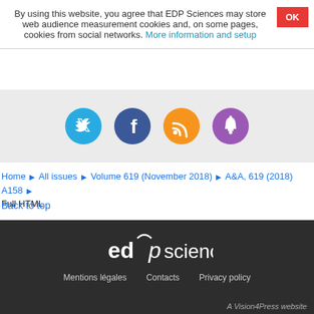By using this website, you agree that EDP Sciences may store web audience measurement cookies and, on some pages, cookies from social networks. More information and setup
[Figure (infographic): Four social media circular icon buttons: Twitter (blue), Facebook (dark blue), RSS (orange), Bell/notifications (purple)]
Home ▶ All issues ▶ Volume 619 (November 2018) ▶ A&A, 619 (2018) A158 ▶ Full HTML
Back to top
[Figure (logo): EDP Sciences logo in white on dark background]
Mentions légales   Contacts   Privacy policy
A Vision4Press website